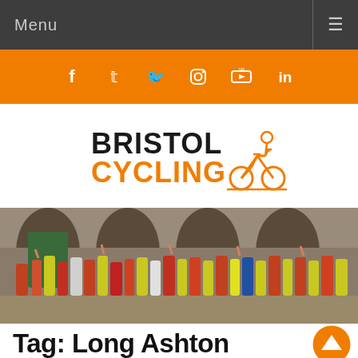Menu
[Figure (screenshot): Orange social media bar with icons for Facebook, Twitter, Instagram, YouTube, and LinkedIn]
[Figure (logo): Bristol Cycling logo with orange cyclist icon and bold black/orange text]
[Figure (photo): Large group photo of cyclists and children waving, wearing hi-vis vests, gathered in front of stone arched building]
Tag: Long Ashton Nailsea Backwell